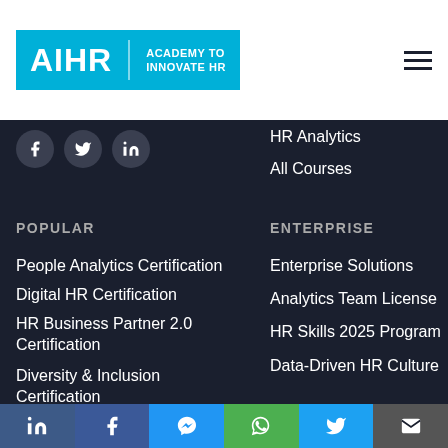AIHR | ACADEMY TO INNOVATE HR
[Figure (infographic): Three circular social media icons: Facebook, Twitter, LinkedIn on dark background]
HR Analytics
All Courses
POPULAR
ENTERPRISE
People Analytics Certification
Digital HR Certification
HR Business Partner 2.0 Certification
Diversity & Inclusion Certification
Organizational Development
Enterprise Solutions
Analytics Team License
HR Skills 2025 Program
Data-Driven HR Culture
Share bar: LinkedIn, Facebook, Messenger, WhatsApp, Twitter, Email